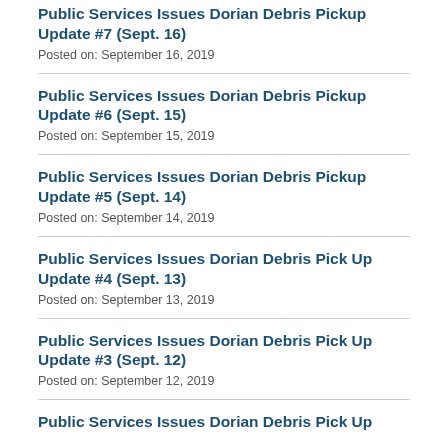Public Services Issues Dorian Debris Pickup Update #7 (Sept. 16)
Posted on: September 16, 2019
Public Services Issues Dorian Debris Pickup Update #6 (Sept. 15)
Posted on: September 15, 2019
Public Services Issues Dorian Debris Pickup Update #5 (Sept. 14)
Posted on: September 14, 2019
Public Services Issues Dorian Debris Pick Up Update #4 (Sept. 13)
Posted on: September 13, 2019
Public Services Issues Dorian Debris Pick Up Update #3 (Sept. 12)
Posted on: September 12, 2019
Public Services Issues Dorian Debris Pick Up